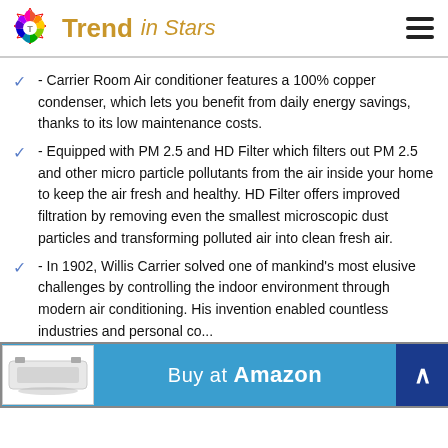Trend in Stars
- Carrier Room Air conditioner features a 100% copper condenser, which lets you benefit from daily energy savings, thanks to its low maintenance costs.
- Equipped with PM 2.5 and HD Filter which filters out PM 2.5 and other micro particle pollutants from the air inside your home to keep the air fresh and healthy. HD Filter offers improved filtration by removing even the smallest microscopic dust particles and transforming polluted air into clean fresh air.
- In 1902, Willis Carrier solved one of mankind's most elusive challenges by controlling the indoor environment through modern air conditioning. His invention enabled countless industries and personal co...
[Figure (other): Buy at Amazon banner with product image of an air conditioner and a blue arrow button]